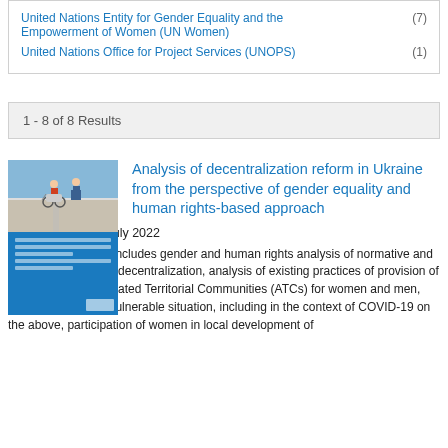United Nations Entity for Gender Equality and the Empowerment of Women (UN Women) (7)
United Nations Office for Project Services (UNOPS) (1)
1 - 8 of 8 Results
[Figure (illustration): Thumbnail cover of a report showing a person pushing someone in a wheelchair on a road, with a blue background and UN Women logo]
Analysis of decentralization reform in Ukraine from the perspective of gender equality and human rights-based approach
Date: Tuesday, 5 July 2022
The policy analysis includes gender and human rights analysis of normative and policy framework on decentralization, analysis of existing practices of provision of services in Amalgamated Territorial Communities (ATCs) for women and men, especially those in vulnerable situation, including in the context of COVID-19 on the above, participation of women in local development of...